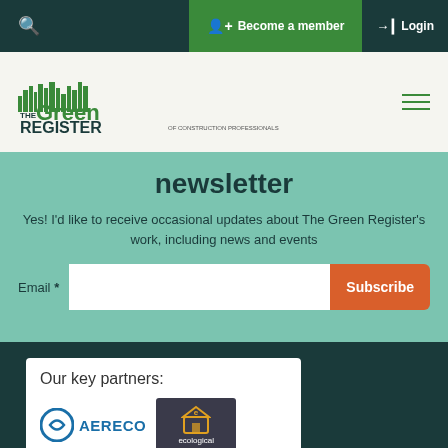Become a member  Login
[Figure (logo): The Green Register of Construction Professionals logo — green cityscape silhouette with text]
newsletter
Yes! I'd like to receive occasional updates about The Green Register's work, including news and events
Email *  [input field]  Subscribe
Our key partners:
[Figure (logo): Aereco logo with blue circular icon and bold text AERECO]
[Figure (logo): Ecological logo on dark background with house-like icon]